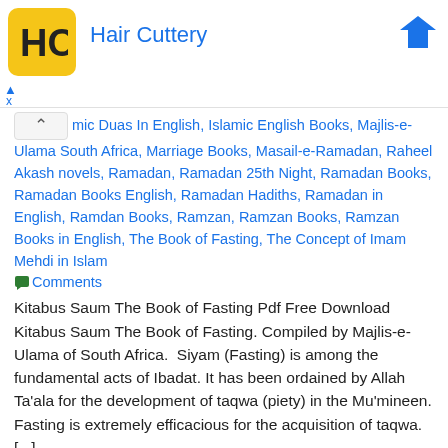[Figure (other): Advertisement banner for Hair Cuttery with yellow logo icon and blue Facebook icon]
mic Duas In English, Islamic English Books, Majlis-e-Ulama South Africa, Marriage Books, Masail-e-Ramadan, Raheel Akash novels, Ramadan, Ramadan 25th Night, Ramadan Books, Ramadan Books English, Ramadan Hadiths, Ramadan in English, Ramdan Books, Ramzan, Ramzan Books, Ramzan Books in English, The Book of Fasting, The Concept of Imam Mehdi in Islam
Comments
Kitabus Saum The Book of Fasting Pdf Free Download Kitabus Saum The Book of Fasting. Compiled by Majlis-e-Ulama of South Africa.  Siyam (Fasting) is among the fundamental acts of Ibadat. It has been ordained by Allah Ta'ala for the development of taqwa (piety) in the Mu'mineen. Fasting is extremely efficacious for the acquisition of taqwa. [...]
Tags: Fazail o Masail Ramzan ul Mubarak Book Pdf Free Download, Kitab us Saum The Book of Fasting in English Pdf, Kitabus Saum The Book of Fasting By Malis e Ulama of South Africa Pdf, Ramadan Books in English Pdf, Ramazan Books in English Pdf